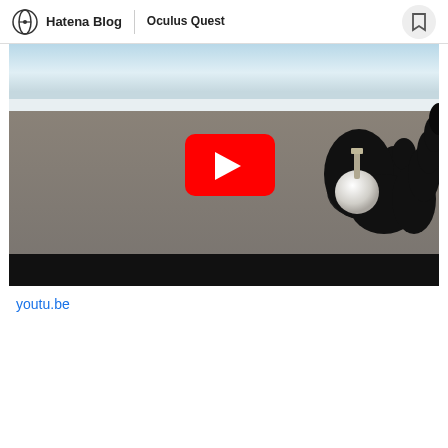Hatena Blog | Oculus Quest
[Figure (screenshot): YouTube video thumbnail showing a VR scene with a hand holding a white sphere with a metal pin in it, against a gray sky background. A red YouTube play button overlay is visible in the center.]
youtu.be